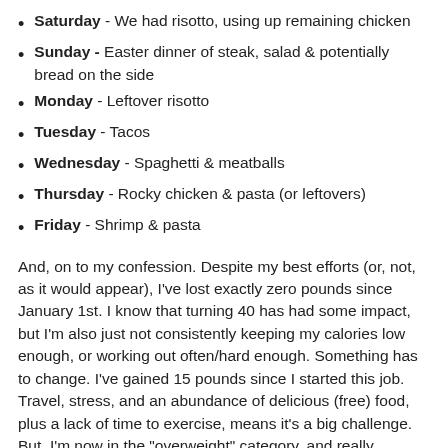Saturday - We had risotto, using up remaining chicken
Sunday - Easter dinner of steak, salad & potentially bread on the side
Monday - Leftover risotto
Tuesday - Tacos
Wednesday - Spaghetti & meatballs
Thursday - Rocky chicken & pasta (or leftovers)
Friday - Shrimp & pasta
And, on to my confession. Despite my best efforts (or, not, as it would appear), I've lost exactly zero pounds since January 1st. I know that turning 40 has had some impact, but I'm also just not consistently keeping my calories low enough, or working out often/hard enough. Something has to change. I've gained 15 pounds since I started this job. Travel, stress, and an abundance of delicious (free) food, plus a lack of time to exercise, means it's a big challenge. But, I'm now in the "overweight" category, and really unhappy with my physical appearance